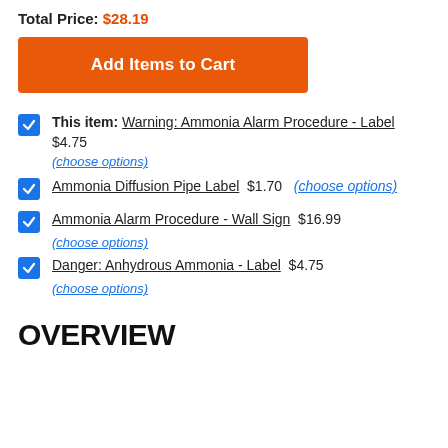Total Price: $28.19
Add Items to Cart
This item: Warning: Ammonia Alarm Procedure - Label $4.75 (choose options)
Ammonia Diffusion Pipe Label $1.70 (choose options)
Ammonia Alarm Procedure - Wall Sign $16.99 (choose options)
Danger: Anhydrous Ammonia - Label $4.75 (choose options)
OVERVIEW